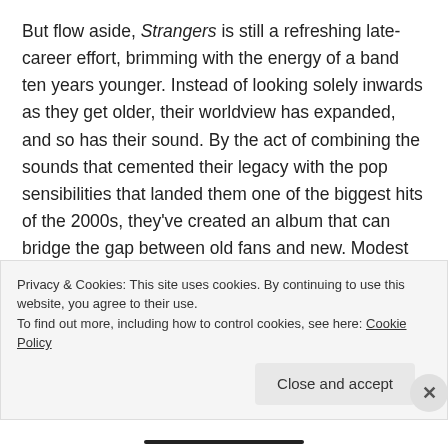But flow aside, Strangers is still a refreshing late-career effort, brimming with the energy of a band ten years younger. Instead of looking solely inwards as they get older, their worldview has expanded, and so has their sound. By the act of combining the sounds that cemented their legacy with the pop sensibilities that landed them one of the biggest hits of the 2000s, they've created an album that can bridge the gap between old fans and new. Modest Mouse could have easily phoned this album in for a quick infusion of cash and an excuse to tour. Instead, they're still writing vital, energetic music that respects their roots. They might not be recording genre-defining classics like The Lonesome Crowded West anymore
Privacy & Cookies: This site uses cookies. By continuing to use this website, you agree to their use.
To find out more, including how to control cookies, see here: Cookie Policy
Close and accept